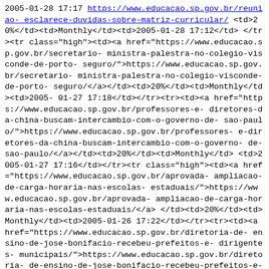<td>2005-01-28 17:17</td> </tr> <tr><td><a href="https://www.educacao.sp.gov.br/reuniao-esclarece-duvidas-sobre-matriz-curricular/">https://www.educacao.sp.gov.br/reuniao-esclarece-duvidas-sobre-matriz-curricular/</a></td><td>20%</td><td>Monthly</td><td>2005-01-28 17:12</td></tr><tr class="high"><td><a href="https://www.educacao.sp.gov.br/secretario-ministra-palestra-no-colegio-visconde-de-porto-seguro/">https://www.educacao.sp.gov.br/secretario-ministra-palestra-no-colegio-visconde-de-porto-seguro/</a></td><td>20%</td><td>Monthly</td><td>2005-01-27 17:18</td></tr><tr><td><a href="https://www.educacao.sp.gov.br/professores-e-diretores-da-china-buscam-intercambio-com-o-governo-de-sao-paulo/">https://www.educacao.sp.gov.br/professores-e-diretores-da-china-buscam-intercambio-com-o-governo-de-sao-paulo/</a></td><td>20%</td><td>Monthly</td><td>2005-01-27 17:16</td></tr><tr class="high"><td><a href="https://www.educacao.sp.gov.br/aprovada-ampliacao-de-carga-horaria-nas-escolas-estaduais/">https://www.educacao.sp.gov.br/aprovada-ampliacao-de-carga-horaria-nas-escolas-estaduais/</a></td><td>20%</td><td>Monthly</td><td>2005-01-26 17:22</td></tr><tr><td><a href="https://www.educacao.sp.gov.br/diretoria-de-ensino-de-jose-bonifacio-recebeu-prefeitos-e-dirigentes-municipais/">https://www.educacao.sp.gov.br/diretoria-de-ensino-de-jose-bonifacio-recebeu-prefeitos-e-dirigentes-municipais/</a></td><td>20%</td>